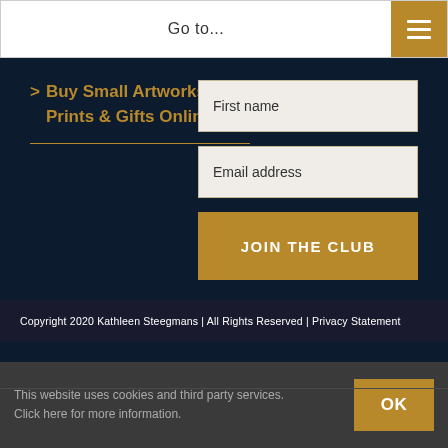Go to...
> Buy Small Artworks, Prints & Gifts Online
First name
Email address
JOIN THE CLUB
Copyright 2020 Kathleen Steegmans | All Rights Reserved | Privacy Statement
This website uses cookies and third party services. Click here for more information.
OK